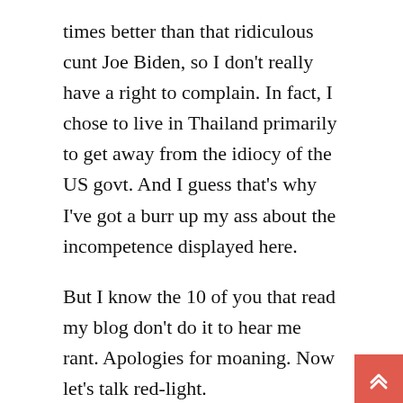times better than that ridiculous cunt Joe Biden, so I don't really have a right to complain. In fact, I chose to live in Thailand primarily to get away from the idiocy of the US govt. And I guess that's why I've got a burr up my ass about the incompetence displayed here.
But I know the 10 of you that read my blog don't do it to hear me rant. Apologies for moaning. Now let's talk red-light.
Speaking of Radio City, I've popped in every night since they opened and each time, I've seen around half a dozen fresh faces. I'm sure some are just trying RC on for size and won't stay, but it's exciting to see so many new girls in Patpong. Although on the flipside, King's Castle and King's Corner are doing gangbuster business with new faces, sure, but in a...